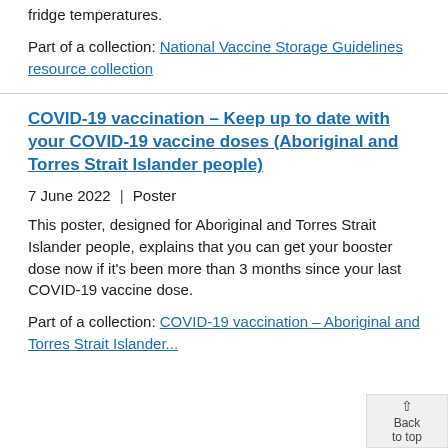fridge temperatures.
Part of a collection: National Vaccine Storage Guidelines resource collection
COVID-19 vaccination – Keep up to date with your COVID-19 vaccine doses (Aboriginal and Torres Strait Islander people)
7 June 2022  |  Poster
This poster, designed for Aboriginal and Torres Strait Islander people, explains that you can get your booster dose now if it's been more than 3 months since your last COVID-19 vaccine dose.
Part of a collection: COVID-19 vaccination – Aboriginal and Torres Strait Islander...